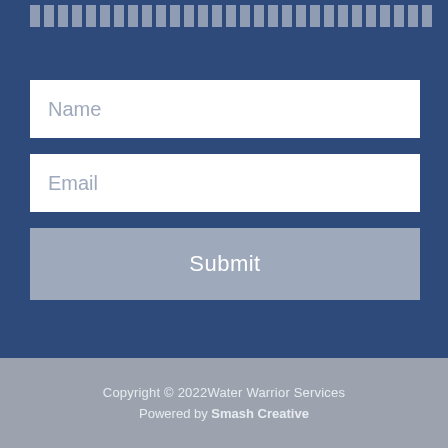[Figure (screenshot): Dark blue background with a person using a phone, partially visible]
Name
Email
Submit
Copyright © 2022Water Warrior Services
Powered by Smash Creative